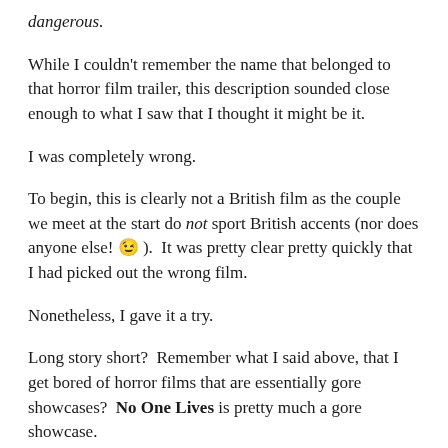dangerous.
While I couldn't remember the name that belonged to that horror film trailer, this description sounded close enough to what I saw that I thought it might be it.
I was completely wrong.
To begin, this is clearly not a British film as the couple we meet at the start do not sport British accents (nor does anyone else! 😉 ).  It was pretty clear pretty quickly that I had picked out the wrong film.
Nonetheless, I gave it a try.
Long story short?  Remember what I said above, that I get bored of horror films that are essentially gore showcases?  No One Lives is pretty much a gore showcase.